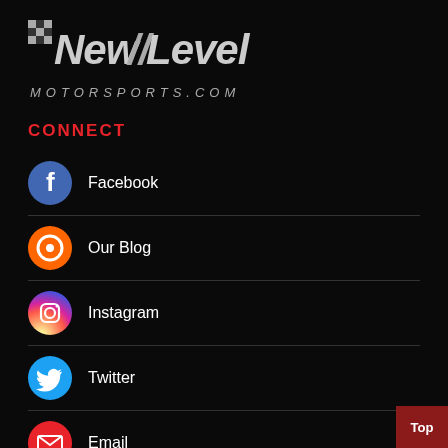[Figure (logo): New Level Motorsports.com logo with checkered flag pattern and italic text on black background]
CONNECT
Facebook
Our Blog
Instagram
Twitter
Email
CUSTOMER SERVICE
Returns
Contact Us
About Us
Wholesale